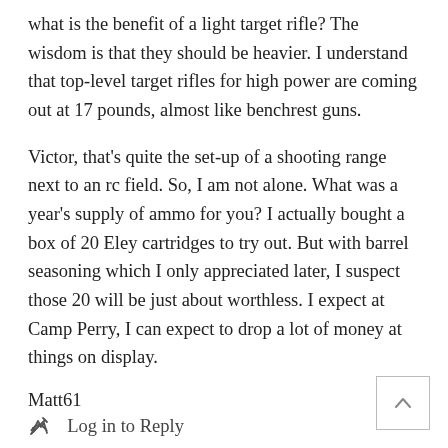what is the benefit of a light target rifle? The wisdom is that they should be heavier. I understand that top-level target rifles for high power are coming out at 17 pounds, almost like benchrest guns.
Victor, that's quite the set-up of a shooting range next to an rc field. So, I am not alone. What was a year's supply of ammo for you? I actually bought a box of 20 Eley cartridges to try out. But with barrel seasoning which I only appreciated later, I suspect those 20 will be just about worthless. I expect at Camp Perry, I can expect to drop a lot of money at things on display.
Matt61
Log in to Reply
duskwight  February 4, 2011 at 4:25 pm
Matt,
Agreed on name+alphanumerics. It has definite chi...